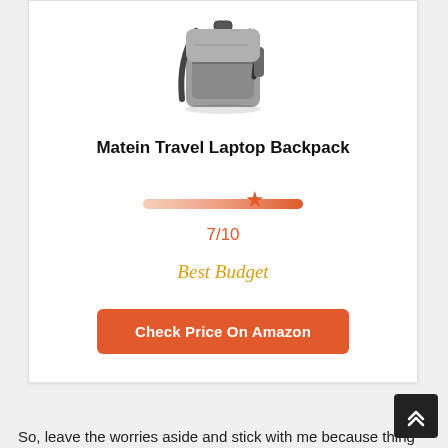[Figure (photo): Photo of a gray Matein Travel Laptop Backpack]
Matein Travel Laptop Backpack
[Figure (infographic): Rating bar showing 7/10 score with star marker, red gradient bar]
7/10
Best Budget
Check Price On Amazon
So, leave the worries aside and stick with me because thing...